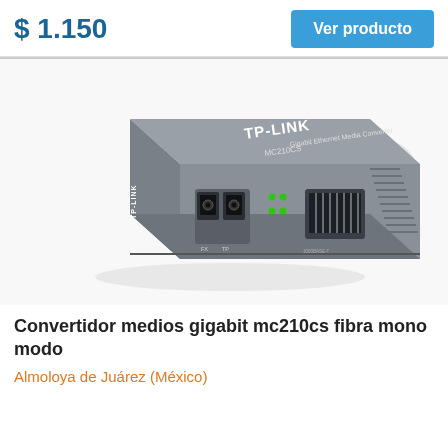$ 1.150
Ver producto
[Figure (photo): TP-LINK MC210CS Gigabit Ethernet Media Converter device, silver/grey metal box with fiber optic and RJ45 ports, shown at an angle on a white background with a faint refresh icon watermark]
Convertidor medios gigabit mc210cs fibra mono modo
Almoloya de Juárez (México)